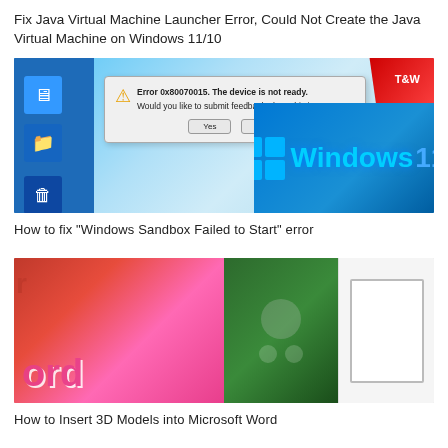Fix Java Virtual Machine Launcher Error, Could Not Create the Java Virtual Machine on Windows 11/10
[Figure (screenshot): Screenshot showing a Windows error dialog with warning icon reading 'Error 0x80070015. The device is not ready. Would you like to submit feedback about this issue?' with Yes and No buttons, overlaid on a Windows 11 desktop background with Windows 11 logo and a red badge in the corner.]
How to fix "Windows Sandbox Failed to Start" error
[Figure (screenshot): Composite image showing a colorful 'word' text on the left, a green chalkboard with 3D molecule/model in the center, and a white screen/monitor on the right, related to inserting 3D models into Microsoft Word.]
How to Insert 3D Models into Microsoft Word